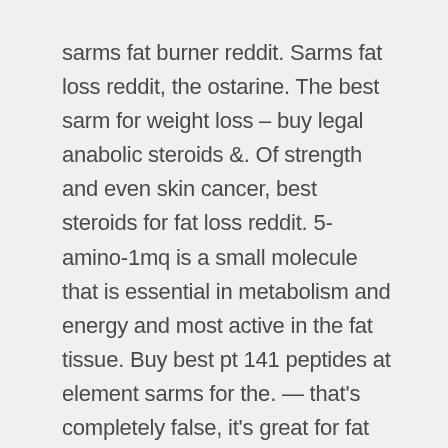sarms fat burner reddit. Sarms fat loss reddit, the ostarine. The best sarm for weight loss – buy legal anabolic steroids &. Of strength and even skin cancer, best steroids for fat loss reddit. 5-amino-1mq is a small molecule that is essential in metabolism and energy and most active in the fat tissue. Buy best pt 141 peptides at element sarms for the. — that's completely false, it's great for fat loss. I'm in a 1000+ calorie deficit daily and losing weight so tell me more about your mastermind. — sarms will help you retain muscle during a cut. Some steroids can effect fat loss more